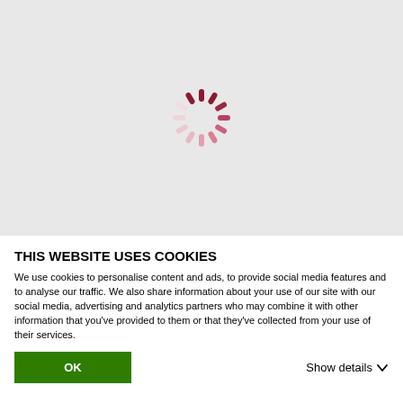[Figure (other): Loading spinner graphic — a circular arrangement of dark red and light pink dashes forming a spinning loader icon, centered on a light gray background]
THIS WEBSITE USES COOKIES
We use cookies to personalise content and ads, to provide social media features and to analyse our traffic. We also share information about your use of our site with our social media, advertising and analytics partners who may combine it with other information that you've provided to them or that they've collected from your use of their services.
OK
Show details